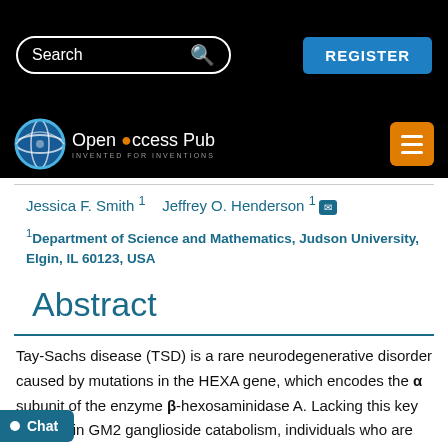Search | REGISTER
[Figure (logo): Open Access Pub logo with globe icon and orange menu button]
Jessica F. Smith 1   Jeffrey O. Henderson 1
1Department of Science and Mathematics, Judson University, Elgin, IL 60123, USA
Abstract
Tay-Sachs disease (TSD) is a rare neurodegenerative disorder caused by mutations in the HEXA gene, which encodes the α subunit of the enzyme β-hexosaminidase A. Lacking this key enzyme in GM2 ganglioside catabolism, individuals who are homozygous for HEXA mutations suffer from abnormal